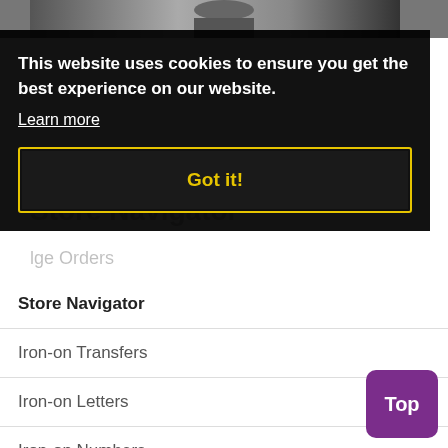[Figure (screenshot): Top portion of a webpage showing a partial image at the top]
This website uses cookies to ensure you get the best experience on our website.
Learn more
Got it!
Store Navigator
Store Navigator
Iron-on Transfers
Iron-on Letters
Iron-on Numbers
Iron-on Team Kits
Iron-on Decals
Iron-on Materials